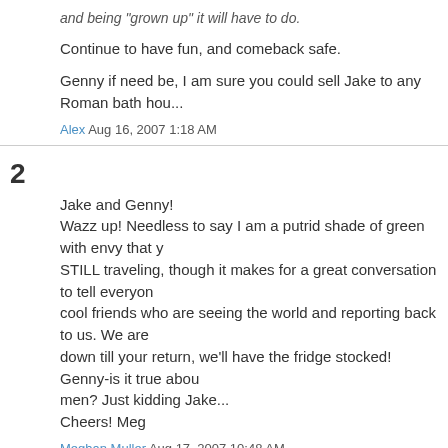and being 'grown up' it will have to do.
Continue to have fun, and comeback safe.
Genny if need be, I am sure you could sell Jake to any Roman bath hou...
Alex Aug 16, 2007 1:18 AM
2
Jake and Genny!
Wazz up! Needless to say I am a putrid shade of green with envy that y... STILL traveling, though it makes for a great conversation to tell everyon... cool friends who are seeing the world and reporting back to us. We are ... down till your return, we'll have the fridge stocked! Genny-is it true abou... men? Just kidding Jake...
Cheers! Meg
Meghan Muller Aug 17, 2007 10:48 AM
3
I once went to Amsterdam.
I packed my suitcase full of sandwiches. It made sense at the time. I ne... them. Not one.